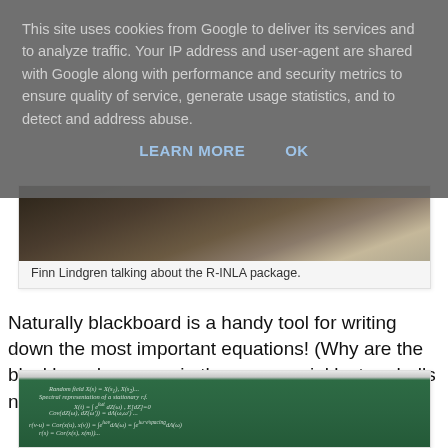This site uses cookies from Google to deliver its services and to analyze traffic. Your IP address and user-agent are shared with Google along with performance and security metrics to ensure quality of service, generate usage statistics, and to detect and address abuse.
LEARN MORE   OK
[Figure (photo): Photo of Finn Lindgren talking, partially visible at top of page]
Finn Lindgren talking about the R-INLA package.
Naturally blackboard is a handy tool for writing down the most important equations! (Why are the blackboards so rare in the commercial lecture halls nowadays?)
[Figure (photo): Photo of a green blackboard with handwritten mathematical equations about random fields and spectral representations]